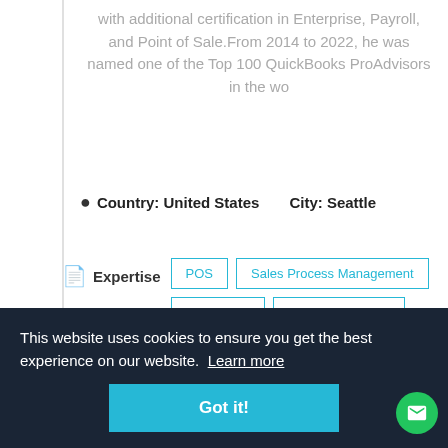with additional certification in Enterprise, Payroll, and Point of Sale.From 2014 to 2022, he was named one of the Top 100 QuickBooks ProAdvisors in the wo
Country: United States    City: Seattle
Expertise  POS  Sales Process Management  Accounting  Billing & Invoicing  Budgeting  Payment Processing  Time & Expenses  MSPs
This website uses cookies to ensure you get the best experience on our website. Learn more
Got it!